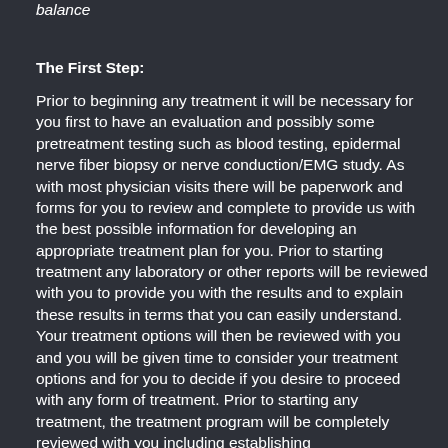balance
The First Step:
Prior to beginning any treatment it will be necessary for you first to have an evaluation and possibly some pretreatment testing such as blood testing, epidermal nerve fiber biopsy or nerve conduction/EMG study. As with most physician visits there will be paperwork and forms for you to review and complete to provide us with the best possible information for developing an appropriate treatment plan for you. Prior to starting treatment any laboratory or other reports will be reviewed with you to provide you with the results and to explain these results in terms that you can easily understand. Your treatment options will then be reviewed with you and you will be given time to consider your treatment options and for you to decide if you desire to proceed with any form of treatment. Prior to starting any treatment, the treatment program will be completely reviewed with you including establishing reasonable/realistic goals, discussing potential risks and complications associated with the selected treatment program for you as well as giving you a time estimation of how long you should expect your individual treatment program to require. Appropriate financial considerations will also be discussed with you prior to starting any